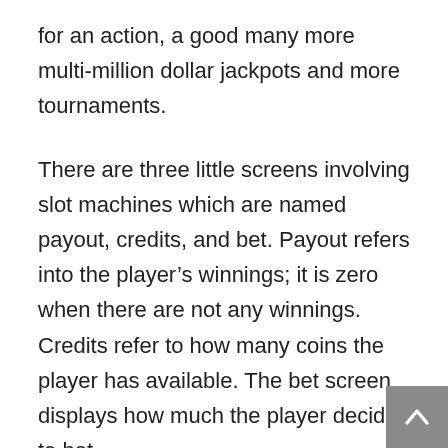for an action, a good many more multi-million dollar jackpots and more tournaments.
There are three little screens involving slot machines which are named payout, credits, and bet. Payout refers into the player’s winnings; it is zero when there are not any winnings. Credits refer to how many coins the player has available. The bet screen displays how much the player decided to bet.
There are wide ranging benefits in playing slots online. One, it cost less. Two, you don’t need to push yourself to your casinos and back condo. Three, there are many great offers which you